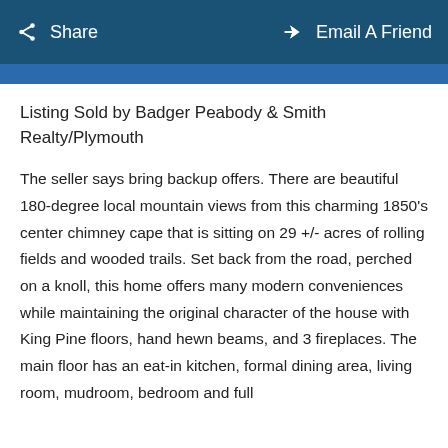Share   Email A Friend
Listing Sold by Badger Peabody & Smith Realty/Plymouth
The seller says bring backup offers. There are beautiful 180-degree local mountain views from this charming 1850's center chimney cape that is sitting on 29 +/- acres of rolling fields and wooded trails. Set back from the road, perched on a knoll, this home offers many modern conveniences while maintaining the original character of the house with King Pine floors, hand hewn beams, and 3 fireplaces. The main floor has an eat-in kitchen, formal dining area, living room, mudroom, bedroom and full